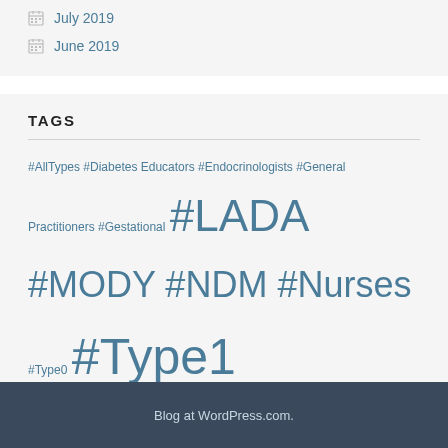July 2019
June 2019
TAGS
#AllTypes #Diabetes Educators #Endocrinologists #General Practitioners #Gestational #LADA #MODY #NDM #Nurses #Type0 #Type1 #Type1 #Type 2 #Type2 #Type3c
Blog at WordPress.com.